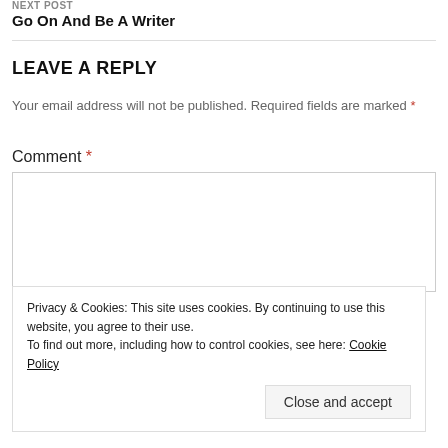NEXT POST
Go On And Be A Writer
LEAVE A REPLY
Your email address will not be published. Required fields are marked *
Comment *
Privacy & Cookies: This site uses cookies. By continuing to use this website, you agree to their use.
To find out more, including how to control cookies, see here: Cookie Policy
Close and accept